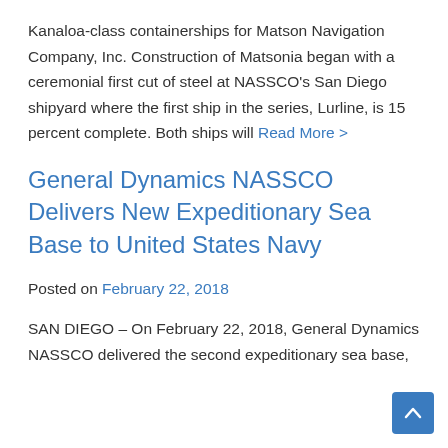Kanaloa-class containerships for Matson Navigation Company, Inc. Construction of Matsonia began with a ceremonial first cut of steel at NASSCO's San Diego shipyard where the first ship in the series, Lurline, is 15 percent complete. Both ships will Read More >
General Dynamics NASSCO Delivers New Expeditionary Sea Base to United States Navy
Posted on February 22, 2018
SAN DIEGO – On February 22, 2018, General Dynamics NASSCO delivered the second expeditionary sea base,